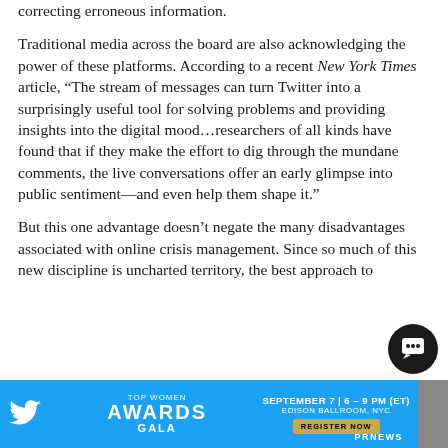correcting erroneous information.
Traditional media across the board are also acknowledging the power of these platforms. According to a recent New York Times article, “The stream of messages can turn Twitter into a surprisingly useful tool for solving problems and providing insights into the digital mood…researchers of all kinds have found that if they make the effort to dig through the mundane comments, the live conversations offer an early glimpse into public sentiment—and even help them shape it.”
But this one advantage doesn’t negate the many disadvantages associated with online crisis management. Since so much of this new discipline is uncharted territory, the best approach to mitigation is to learn from the mistakes...
[Figure (infographic): Advertisement banner at the bottom: Twitter logo on left, 'Top Women Awards Gala' text center, 'September 7 | 6-9 PM (ET), Edison Ballroom, NYC, Register Now' on right, PRNEWS branding]